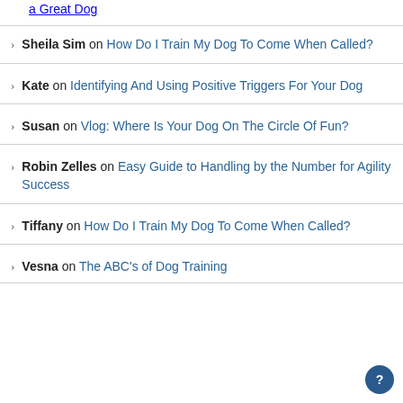(truncated top) a Great Dog
Sheila Sim on How Do I Train My Dog To Come When Called?
Kate on Identifying And Using Positive Triggers For Your Dog
Susan on Vlog: Where Is Your Dog On The Circle Of Fun?
Robin Zelles on Easy Guide to Handling by the Number for Agility Success
Tiffany on How Do I Train My Dog To Come When Called?
Vesna on The ABC’s of Dog Training